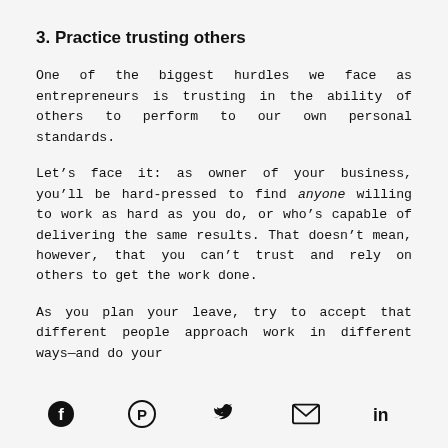3. Practice trusting others
One of the biggest hurdles we face as entrepreneurs is trusting in the ability of others to perform to our own personal standards.
Let’s face it: as owner of your business, you’ll be hard-pressed to find anyone willing to work as hard as you do, or who’s capable of delivering the same results. That doesn’t mean, however, that you can’t trust and rely on others to get the work done.
As you plan your leave, try to accept that different people approach work in different ways—and do your
[Figure (other): Social sharing icons: Facebook, Pinterest, Twitter, Email, LinkedIn]